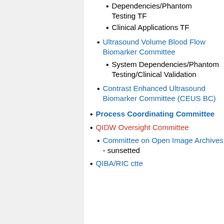Dependencies/Phantom Testing TF
Clinical Applications TF
Ultrasound Volume Blood Flow Biomarker Committee
System Dependencies/Phantom Testing/Clinical Validation
Contrast Enhanced Ultrasound Biomarker Committee (CEUS BC)
Process Coordinating Committee
QIDW Oversight Committee
Committee on Open Image Archives - sunsetted
QIBA/RIC ctte